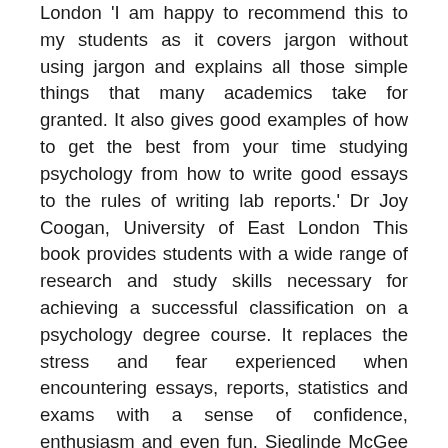London 'I am happy to recommend this to my students as it covers jargon without using jargon and explains all those simple things that many academics take for granted. It also gives good examples of how to get the best from your time studying psychology from how to write good essays to the rules of writing lab reports.' Dr Joy Coogan, University of East London This book provides students with a wide range of research and study skills necessary for achieving a successful classification on a psychology degree course. It replaces the stress and fear experienced when encountering essays, reports, statistics and exams with a sense of confidence, enthusiasm and even fun. Sieglinde McGee presents indispensable instruction, advice and tips on note making and note taking, evaluating academic literature, writing critical essays,